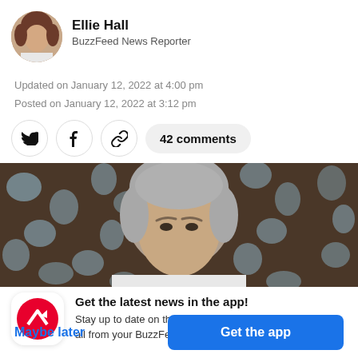[Figure (photo): Circular avatar photo of Ellie Hall, BuzzFeed News Reporter]
Ellie Hall
BuzzFeed News Reporter
Updated on January 12, 2022 at 4:00 pm
Posted on January 12, 2022 at 3:12 pm
[Figure (infographic): Social share buttons: Twitter, Facebook, link icon, and 42 comments pill button]
[Figure (photo): Close-up photo of an older man with grey hair, furrowed brow, against a decorative dark background with light oval shapes]
[Figure (logo): BuzzFeed app icon: red circle with white trending arrow logo]
Get the latest news in the app!
Stay up to date on the most breaking news, all from your BuzzFeed app.
Maybe later
Get the app